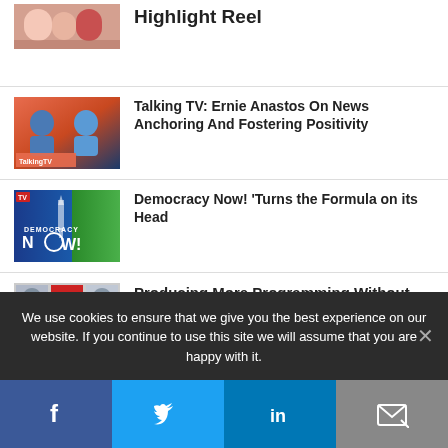Highlight Reel
[Figure (photo): Group photo thumbnail for Highlight Reel article]
Talking TV: Ernie Anastos On News Anchoring And Fostering Positivity
[Figure (photo): Talking TV show thumbnail with two people and TalkingTV logo]
Democracy Now! 'Turns the Formula on its Head
[Figure (photo): Democracy Now! logo thumbnail on blue and green background]
Producing More Programming Without Breaking The Bank (Or...
[Figure (photo): TVNewser grid of headshots with TVN logo]
We use cookies to ensure that we give you the best experience on our website. If you continue to use this site we will assume that you are happy with it.
Facebook | Twitter | LinkedIn | Email